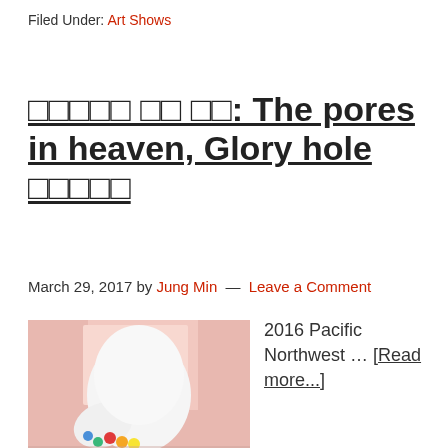Filed Under: Art Shows
□□□□□ □□ □□: The pores in heaven, Glory hole □□□□□
March 29, 2017 by Jung Min — Leave a Comment
[Figure (photo): A white sculpture or stuffed figure holding small colorful yarn balls, against a pink background]
2016 Pacific Northwest … [Read more...]